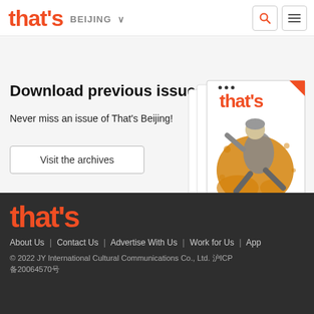that's  BEIJING
Download previous issues
Never miss an issue of That's Beijing!
Visit the archives
[Figure (illustration): Stack of That's Beijing magazine covers showing a skateboarder with orange paint splash and 'IPPING OUT' text]
[Figure (logo): that's logo in orange bold font]
About Us  |  Contact Us  |  Advertise With Us  |  Work for Us  |  App
© 2022 JY International Cultural Communications Co., Ltd. 沪ICP 备20064570号